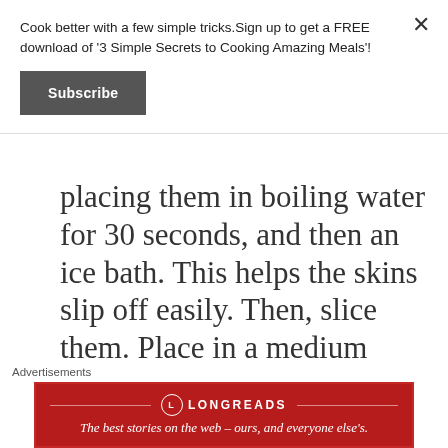Cook better with a few simple tricks.Sign up to get a FREE download of '3 Simple Secrets to Cooking Amazing Meals'!
Subscribe
placing them in boiling water for 30 seconds, and then an ice bath. This helps the skins slip off easily. Then, slice them. Place in a medium bowl.
2. Add berries, sugar, vanilla, cinnamon, cornstarch and lemon
Advertisements
[Figure (other): Longreads advertisement banner: red background with logo and tagline 'The best stories on the web – ours, and everyone else's.']